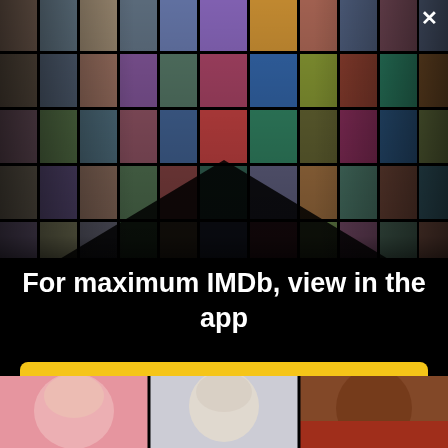[Figure (photo): IMDb app promotional banner showing a collage of celebrity photos and movie posters arranged in a perspective/vanishing-point layout on a black background, with a white X close button in the top right corner.]
For maximum IMDb, view in the app
[Figure (other): Yellow rounded rectangle button with text 'Get the app']
[Figure (photo): Bottom strip showing three celebrity close-up photos: a woman with pink hair smiling, a blonde woman with a serious expression, and a Black man in a red jacket.]